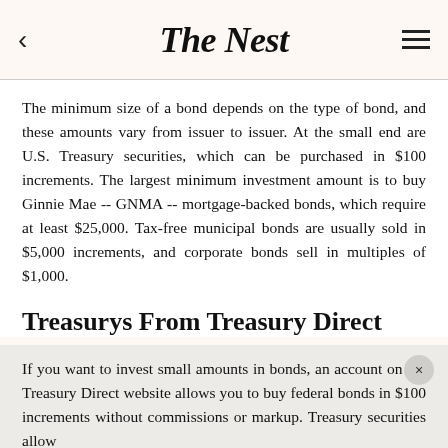The Nest
The minimum size of a bond depends on the type of bond, and these amounts vary from issuer to issuer. At the small end are U.S. Treasury securities, which can be purchased in $100 increments. The largest minimum investment amount is to buy Ginnie Mae -- GNMA -- mortgage-backed bonds, which require at least $25,000. Tax-free municipal bonds are usually sold in $5,000 increments, and corporate bonds sell in multiples of $1,000.
Treasurys From Treasury Direct
If you want to invest small amounts in bonds, an account on the Treasury Direct website allows you to buy federal bonds in $100 increments without commissions or markup. Treasury securities allow